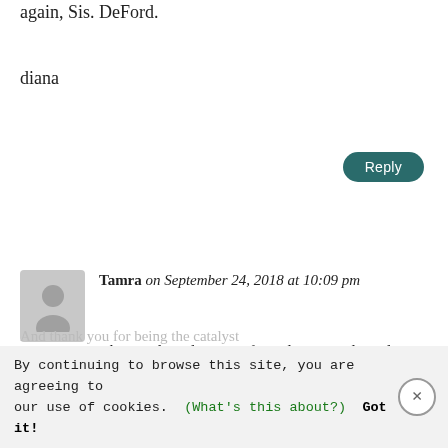again, Sis. DeFord.
diana
Tamra on September 24, 2018 at 10:09 pm
The words and music of a truly inspired gentle-woman. Thank you Sister DeFord. A beautiful gift to all of us. You continue to bless my life through your music.
sallydeford on September 25, 2018 at 8:58 am
And thank you for being the catalyst for the inspiration possible...
By continuing to browse this site, you are agreeing to our use of cookies. (What's this about?) Got it!